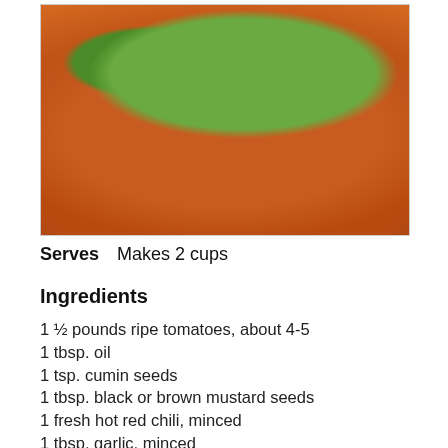[Figure (photo): A glass bowl filled with an orange-red tomato-based sauce or chutney, topped with chopped green scallions, caramelized onions, and spices, photographed from above and to the side.]
Serves   Makes 2 cups
Ingredients
1 ½ pounds ripe tomatoes, about 4-5
1 tbsp. oil
1 tsp. cumin seeds
1 tbsp. black or brown mustard seeds
1 fresh hot red chili, minced
1 tbsp. garlic, minced
1 tbsp. ginger, minced
1 tsp. coriander